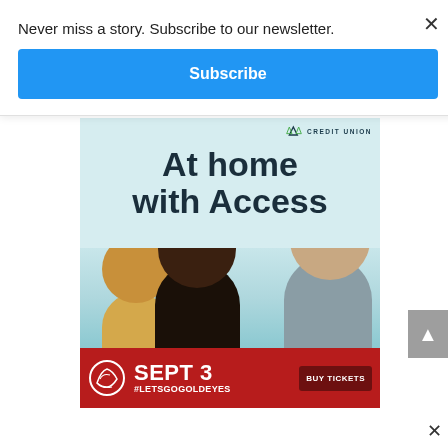Never miss a story. Subscribe to our newsletter.
Subscribe
[Figure (illustration): Access Credit Union advertisement: 'At home with Access' with tagline 'Local mortgage experts. Comfortable payment plans.' featuring a family photo of a woman, man, and child.]
[Figure (illustration): Goldeyes baseball team promotional banner: 'SEPT 3 #LETSGOGOLDEYES' with Buy Tickets button and team logo.]